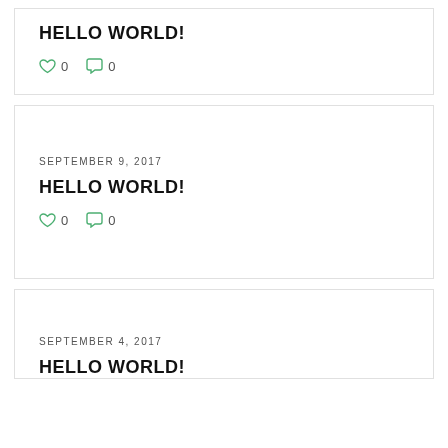HELLO WORLD!
♡ 0   💬 0
SEPTEMBER 9, 2017
HELLO WORLD!
♡ 0   💬 0
SEPTEMBER 4, 2017
HELLO WORLD!